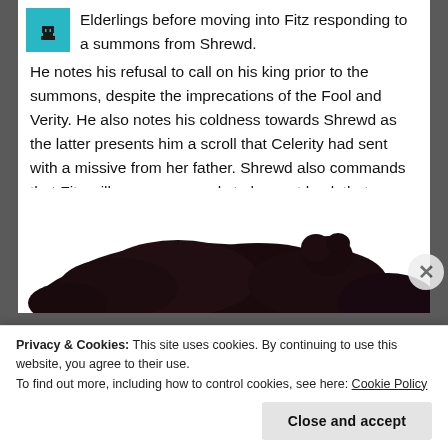Elderlings before moving into Fitz responding to a summons from Shrewd. He notes his refusal to call on his king prior to the summons, despite the imprecations of the Fool and Verity. He also notes his coldness towards Shrewd as the latter presents him a scroll that Celerity had sent with a missive from her father. Shrewd also commands that Fitz will compose a reply to be sent back that afternoon.
[Figure (photo): Dark, textured photo of what appears to be a dark-colored furry or hairy object against a white background, partially cut off at the bottom of the content area.]
Privacy & Cookies: This site uses cookies. By continuing to use this website, you agree to their use.
To find out more, including how to control cookies, see here: Cookie Policy
Close and accept